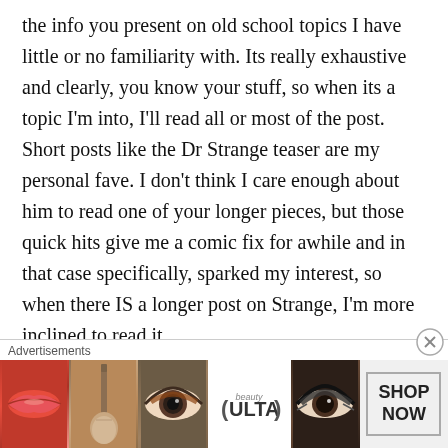the info you present on old school topics I have little or no familiarity with. Its really exhaustive and clearly, you know your stuff, so when its a topic I'm into, I'll read all or most of the post. Short posts like the Dr Strange teaser are my personal fave. I don't think I care enough about him to read one of your longer pieces, but those quick hits give me a comic fix for awhile and in that case specifically, sparked my interest, so when there IS a longer post on Strange, I'm more inclined to read it.
I try to stay current with a couple dozen pop,
Advertisements
[Figure (photo): Ulta beauty advertisement banner showing close-ups of lips with lipstick, makeup brush, eye with eyeshadow, Ulta logo, another eye with dramatic makeup, and a 'SHOP NOW' button]